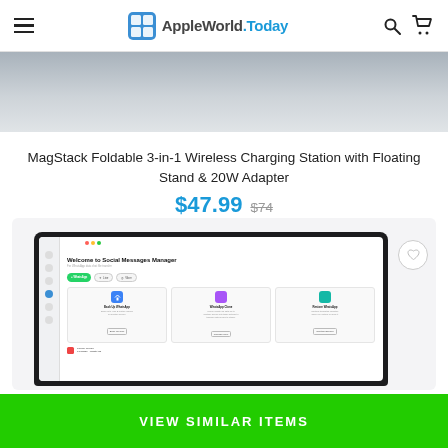AppleWorld.Today
[Figure (screenshot): Partial hero image — grey gradient strip at top of page]
MagStack Foldable 3-in-1 Wireless Charging Station with Floating Stand & 20W Adapter
$47.99  $74
[Figure (screenshot): Screenshot of macOS app: Welcome to Social Messages Manager — shows WhatsApp, Line, Viber tabs and feature cards for Back Up WhatsApp, WhatsApp Clone, Restore WhatsApp]
VIEW SIMILAR ITEMS